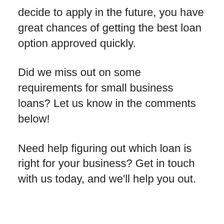decide to apply in the future, you have great chances of getting the best loan option approved quickly.
Did we miss out on some requirements for small business loans? Let us know in the comments below!
Need help figuring out which loan is right for your business? Get in touch with us today, and we'll help you out.